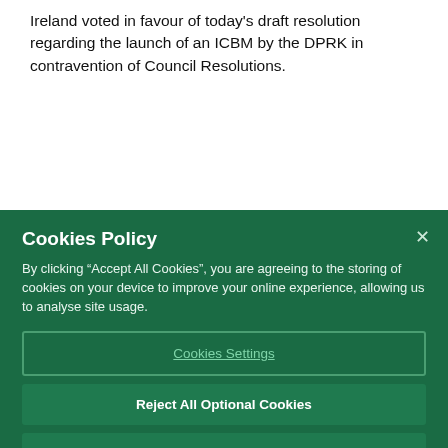Ireland voted in favour of today's draft resolution regarding the launch of an ICBM by the DPRK in contravention of Council Resolutions.
The DPRK's actions threaten peace and stability on the Korean Peninsula and the wider region, as well as undermining the global disarmament and non-proliferation framework.  Given the DPRK's continued destabilizing activities, this Council must
Cookies Policy
By clicking “Accept All Cookies”, you are agreeing to the storing of cookies on your device to improve your online experience, allowing us to analyse site usage.
Cookies Settings
Reject All Optional Cookies
Accept All Cookies